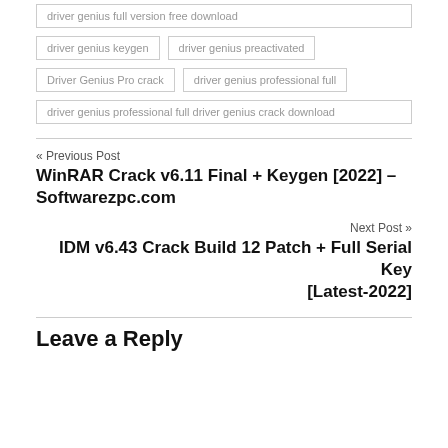driver genius full version free download
driver genius keygen
driver genius preactivated
Driver Genius Pro crack
driver genius professional full
driver genius professional full driver genius crack download
« Previous Post
WinRAR Crack v6.11 Final + Keygen [2022] – Softwarezpc.com
Next Post »
IDM v6.43 Crack Build 12 Patch + Full Serial Key [Latest-2022]
Leave a Reply